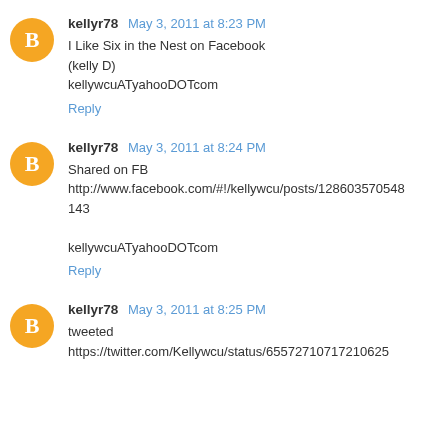kellyr78 May 3, 2011 at 8:23 PM
I Like Six in the Nest on Facebook
(kelly D)
kellywcuATyahooDOTcom
Reply
kellyr78 May 3, 2011 at 8:24 PM
Shared on FB
http://www.facebook.com/#!/kellywcu/posts/128603570548143
kellywcuATyahooDOTcom
Reply
kellyr78 May 3, 2011 at 8:25 PM
tweeted
https://twitter.com/Kellywcu/status/65572710717210625